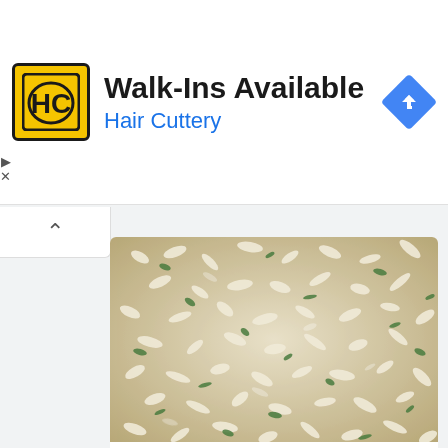[Figure (logo): Hair Cuttery HC logo in yellow square with black border]
Walk-Ins Available
Hair Cuttery
[Figure (illustration): Blue diamond-shaped navigation/directions icon with white right-turn arrow]
[Figure (photo): Close-up photo of white risotto rice with green herbs (parsley)]
White Risotto Recipe
laurainthekitchen.com
Ingredients: parmesan, celery, risotto rice, chicken stock, butter, white wine, parsley, olive oil, onion, garlic